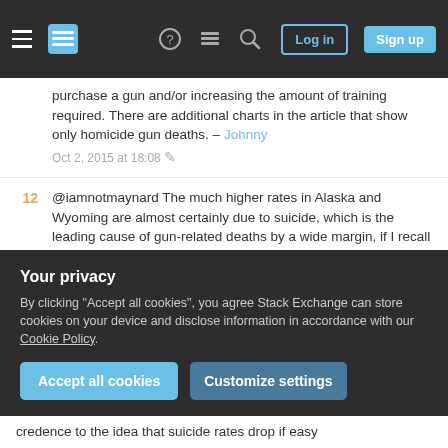Stack Exchange navigation header with Log in and Sign up buttons
purchase a gun and/or increasing the amount of training required. There are additional charts in the article that show only homicide gun deaths. – Johnny Oct 2, 2015 at 18:08
12 @iamnotmaynard The much higher rates in Alaska and Wyoming are almost certainly due to suicide, which is the leading cause of gun-related deaths by a wide margin, if I recall correctly. Wyoming and Alaska have the highest suicide rates, according to CDC. – reirab Oct 2, 2015 at 20:02
39 It is hard to get reliable data about consequences of gun laws on gun violence because Congress does not
Your privacy — By clicking "Accept all cookies", you agree Stack Exchange can store cookies on your device and disclose information in accordance with our Cookie Policy.
credence to the idea that suicide rates drop if easy